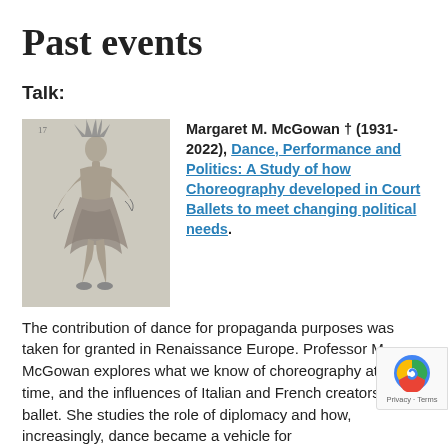Past events
Talk:
[Figure (illustration): Historical black and white engraving of a dancer in elaborate Renaissance costume with feathered headdress, flowing skirt, and expressive pose.]
Margaret M. McGowan † (1931-2022), Dance, Performance and Politics: A Study of how Choreography developed in Court Ballets to meet changing political needs.
The contribution of dance for propaganda purposes was taken for granted in Renaissance Europe. Professor M. McGowan explores what we know of choreography at this time, and the influences of Italian and French creators of ballet. She studies the role of diplomacy and how, increasingly, dance became a vehicle for